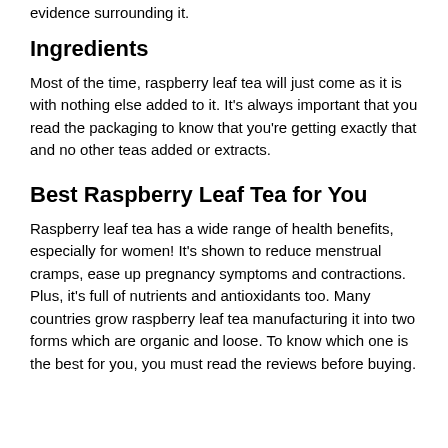evidence surrounding it.
Ingredients
Most of the time, raspberry leaf tea will just come as it is with nothing else added to it. It's always important that you read the packaging to know that you're getting exactly that and no other teas added or extracts.
Best Raspberry Leaf Tea for You
Raspberry leaf tea has a wide range of health benefits, especially for women! It's shown to reduce menstrual cramps, ease up pregnancy symptoms and contractions. Plus, it's full of nutrients and antioxidants too. Many countries grow raspberry leaf tea manufacturing it into two forms which are organic and loose. To know which one is the best for you, you must read the reviews before buying.